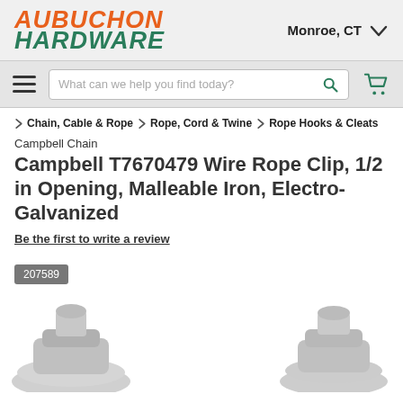[Figure (logo): Aubuchon Hardware logo in orange and teal italic bold text]
Monroe, CT
[Figure (screenshot): Navigation bar with hamburger menu, search box, and cart icon]
> Chain, Cable & Rope > Rope, Cord & Twine > Rope Hooks & Cleats
Campbell Chain
Campbell T7670479 Wire Rope Clip, 1/2 in Opening, Malleable Iron, Electro-Galvanized
Be the first to write a review
207589
[Figure (photo): Product images of wire rope clips at the bottom of the page]